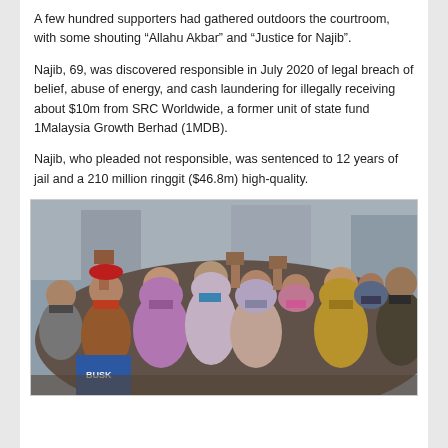A few hundred supporters had gathered outdoors the courtroom, with some shouting “Allahu Akbar” and “Justice for Najib”.
Najib, 69, was discovered responsible in July 2020 of legal breach of belief, abuse of energy, and cash laundering for illegally receiving about $10m from SRC Worldwide, a former unit of state fund 1Malaysia Growth Berhad (1MDB).
Najib, who pleaded not responsible, was sentenced to 12 years of jail and a 210 million ringgit ($46.8m) high-quality.
[Figure (photo): A crowd of supporters wearing face masks gathered outdoors, some raising fists in the air. People are wearing colorful hijabs and masks in pink, blue, and other colors. One person in the front wears a blue jacket.]